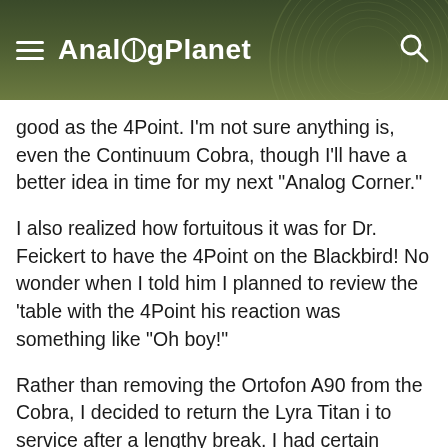AnalogPlanet
good as the 4Point. I'm not sure anything is, even the Continuum Cobra, though I'll have a better idea in time for my next “Analog Corner.”
I also realized how fortuitous it was for Dr. Feickert to have the 4Point on the Blackbird! No wonder when I told him I planned to review the ‘table with the 4Point his reaction was something like “Oh boy!”
Rather than removing the Ortofon A90 from the Cobra, I decided to return the Lyra Titan i to service after a lengthy break. I had certain expectations since I knew its sound so well. High expectations were exceeded.